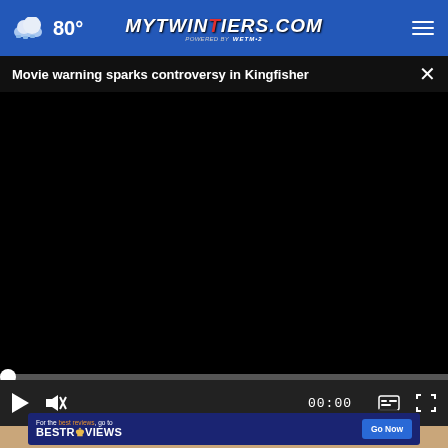80° | mytwintiers.com
Movie warning sparks controversy in Kingfisher
[Figure (screenshot): Black video player with progress bar and controls showing 00:00 timestamp, play button, mute button, captions button, and fullscreen button]
For the best reviews, go to BESTREVIEWS
The ... Discomfort - Now 60% Off!